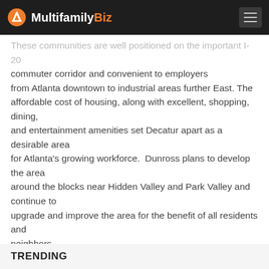MultifamilyBiz
These communities are well positioned on the important I-20 commuter corridor and convenient to employers from Atlanta downtown to industrial areas further East. The affordable cost of housing, along with excellent, shopping, dining, and entertainment amenities set Decatur apart as a desirable area for Atlanta's growing workforce.  Dunross plans to develop the area around the blocks near Hidden Valley and Park Valley and continue to upgrade and improve the area for the benefit of all residents and neighbors.
Dunross Capital is a real estate acquisition company based in Ronkonkoma, New York and with the Operations Team located in Atlanta Georgia. The Company acquires and operates multi-family properties in high growth markets in South- Eastern USA.
SOURCE: DUNROSS CAPITAL
TRENDING